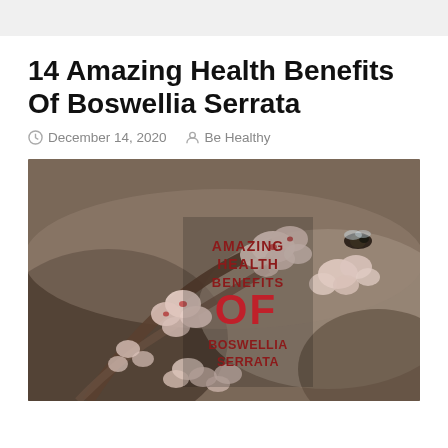14 Amazing Health Benefits Of Boswellia Serrata
December 14, 2020  Be Healthy
[Figure (photo): Close-up photo of Boswellia Serrata plant with pink/white small flowers and a bee, overlaid with bold red and dark red text reading 'AMAZING HEALTH BENEFITS OF BOSWELLIA SERRATA']